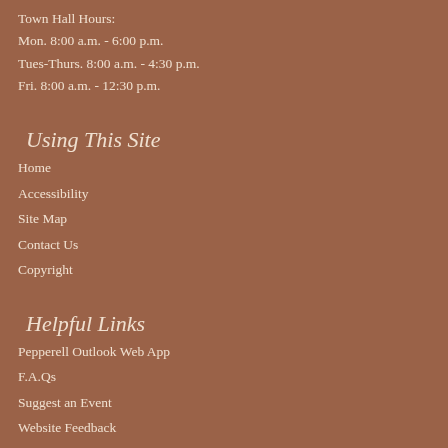Town Hall Hours:
Mon. 8:00 a.m. - 6:00 p.m.
Tues-Thurs. 8:00 a.m. - 4:30 p.m.
Fri. 8:00 a.m. - 12:30 p.m.
Using This Site
Home
Accessibility
Site Map
Contact Us
Copyright
Helpful Links
Pepperell Outlook Web App
F.A.Qs
Suggest an Event
Website Feedback
Police Department Facebook
Fire Department Facebook
Lawrence Library Facebook